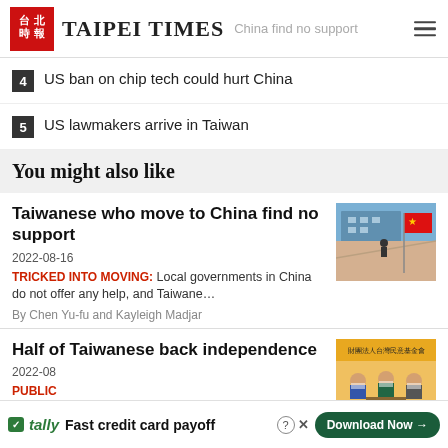TAIPEI TIMES · China find no support
4  US ban on chip tech could hurt China
5  US lawmakers arrive in Taiwan
You might also like
Taiwanese who move to China find no support
2022-08-16
TRICKED INTO MOVING: Local governments in China do not offer any help, and Taiwane…
By Chen Yu-fu and Kayleigh Madjar
[Figure (photo): Photo of Chinese flag in front of building]
Half of Taiwanese back independence
2022-08
PUBLIC
[Figure (photo): Photo of press conference with masked attendees and banner in Chinese]
Fast credit card payoff
Download Now →